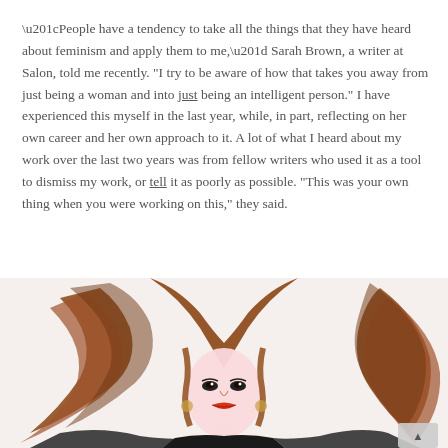“People have a tendency to take all the things that they have heard about feminism and apply them to me,” Sarah Brown, a writer at Salon, told me recently. “I try to be aware of how that takes you away from just being a woman and into just being an intelligent person.” I have experienced this myself in the last year, while, in part, reflecting on her own career and her own approach to it. A lot of what I heard about my work over the last two years was from fellow writers who used it as a tool to dismiss my work, or tell it as poorly as possible. “This was your own thing when you were working on this,” they said.
[Figure (photo): A woman with long flowing auburn/red hair that spreads out dramatically to both sides. She is wearing a black outfit and looking directly at the camera with a confident expression. The photo is cropped to show her from approximately the shoulders up, with her hair filling much of the frame.]